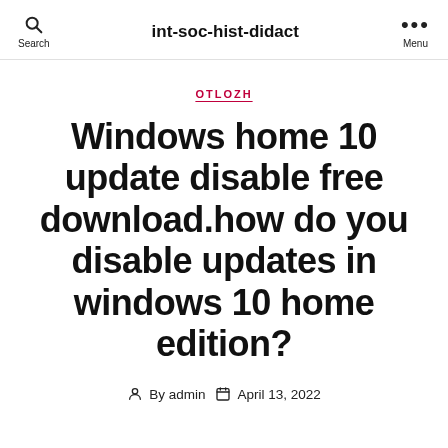int-soc-hist-didact
OTLOZH
Windows home 10 update disable free download.how do you disable updates in windows 10 home edition?
By admin   April 13, 2022